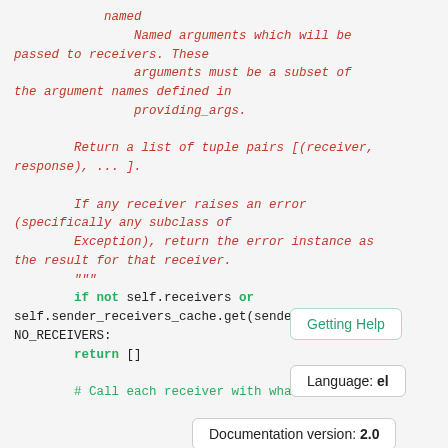named
    Named arguments which will be passed to receivers. These
                arguments must be a subset of the argument names defined in
                providing_args.

        Return a list of tuple pairs [(receiver,
        response), ... ].

        If any receiver raises an error
        (specifically any subclass of
            Exception), return the error instance as
        the result for that receiver.
        """
        if not self.receivers or self.sender_receivers_cache.get(sende: NO_RECEIVERS:
            return []

        # Call each receiver with whatever
Getting Help
Language: el
Documentation version: 2.0